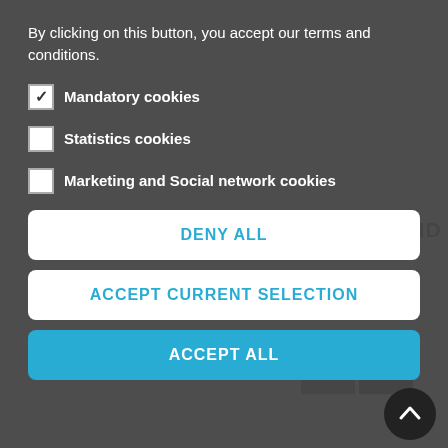[Figure (screenshot): Cookie consent overlay on a lingerie e-commerce product page. The overlay is dark gray and contains cookie consent options with checkboxes, and three buttons: DENY ALL, ACCEPT CURRENT SELECTION, and ACCEPT ALL. Behind the overlay, a product title 'OPEN BODYSTOCKING FISHNET AND SUSPENDER...' and price '18,90 €' are visible, along with a product image at the bottom.]
By clicking on this button, you accept our terms and conditions.
Mandatory cookies
Statistics cookies
Marketing and Social network cookies
DENY ALL
ACCEPT CURRENT SELECTION
ACCEPT ALL